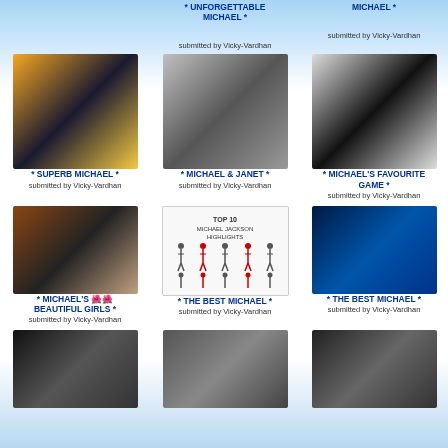* UNFORGETTABLE MICHAEL *
submitted by Vicky-Vardhan
MICHAEL *
submitted by Vicky-Vardhan
[Figure (photo): Michael Jackson performing on stage in gold and black outfit]
* SUPERB MICHAEL *
submitted by Vicky-Vardhan
[Figure (photo): Michael Jackson with Janet Jackson standing together]
* MICHAEL & JANET *
submitted by Vicky-Vardhan
[Figure (photo): Michael Jackson Monopoly board game]
* MICHAEL'S FAVOURITE GAME *
submitted by Vicky-Vardhan
[Figure (photo): Collage of Michael Jackson's beautiful girls]
* MICHAEL'S 🌺🌺 BEAUTIFUL GIRLS *
submitted by Vicky-Vardhan
[Figure (illustration): Top 10 Michael Jackson Highlights infographic with illustrated poses]
* THE BEST MICHAEL *
submitted by Vicky-Vardhan
[Figure (photo): Michael Jackson Unmasked DVD cover]
* THE BEST MICHAEL *
submitted by Vicky-Vardhan
[Figure (photo): Michael Jackson in dark performance photo]
[Figure (photo): Michael Jackson portrait with sunglasses]
[Figure (photo): When You Feel Sad - Michael Jackson montage]